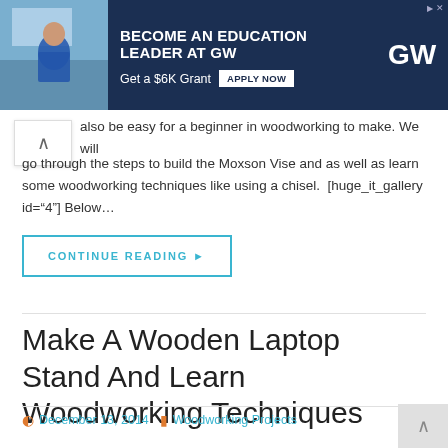[Figure (screenshot): Advertisement banner: BECOME AN EDUCATION LEADER AT GW, Get a $6K Grant, APPLY NOW button, GW logo, woman in classroom photo]
...also be easy for a beginner in woodworking to make. We will go through the steps to build the Moxson Vise and as well as learn some woodworking techniques like using a chisel.  [huge_it_gallery id="4"] Below…
CONTINUE READING ▶
Make A Wooden Laptop Stand And Learn Woodworking Techniques
December 13, 2014   Woodworking Projects
cnc, free plans, router table, woodworking, woodworking videos, youtube
16